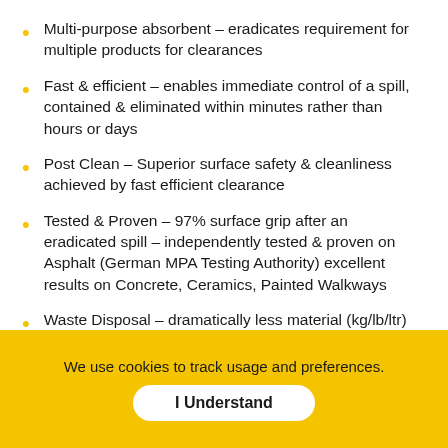Multi-purpose absorbent – eradicates requirement for multiple products for clearances
Fast & efficient – enables immediate control of a spill, contained & eliminated within minutes rather than hours or days
Post Clean – Superior surface safety & cleanliness achieved by fast efficient clearance
Tested & Proven – 97% surface grip after an eradicated spill – independently tested & proven on Asphalt (German MPA Testing Authority) excellent results on Concrete, Ceramics, Painted Walkways
Waste Disposal – dramatically less material (kg/lb/ltr) to dispose of, organic base matter enables more diverse final disposal options & routes
We use cookies to track usage and preferences.
I Understand